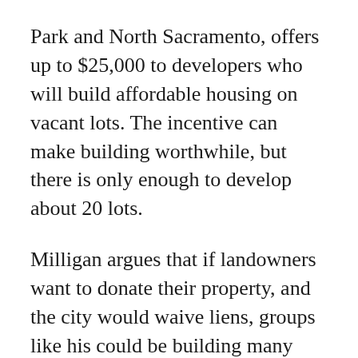Park and North Sacramento, offers up to $25,000 to developers who will build affordable housing on vacant lots. The incentive can make building worthwhile, but there is only enough to develop about 20 lots.
Milligan argues that if landowners want to donate their property, and the city would waive liens, groups like his could be building many more houses than they do now.
“But right now, there’s no mechanism,